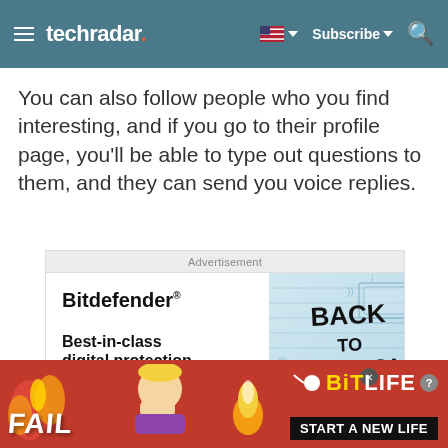techradar — Subscribe
You can also follow people who you find interesting, and if you go to their profile page, you'll be able to type out questions to them, and they can send you voice replies.
[Figure (screenshot): Advertisement box: Bitdefender 'Best-in-class digital protection' with 'Back to School' promotional graphic, notebook doodles on light blue background]
[Figure (screenshot): Bottom banner ad for BitLife game: red background with flame graphics, FAIL text, cartoon character, BitLife logo, and 'START A NEW LIFE' button]